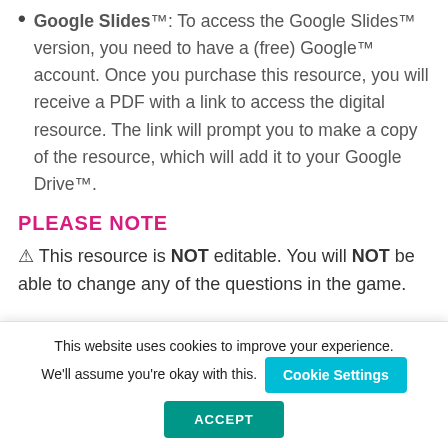Google Slides™: To access the Google Slides™ version, you need to have a (free) Google™ account. Once you purchase this resource, you will receive a PDF with a link to access the digital resource. The link will prompt you to make a copy of the resource, which will add it to your Google Drive™.
PLEASE NOTE
⚠ This resource is NOT editable. You will NOT be able to change any of the questions in the game.
This website uses cookies to improve your experience. We'll assume you're okay with this.